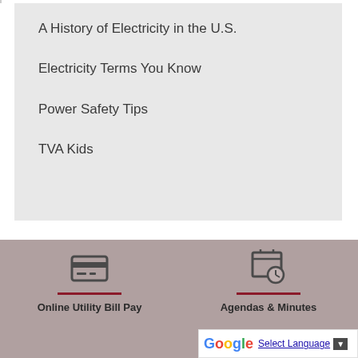A History of Electricity in the U.S.
Electricity Terms You Know
Power Safety Tips
TVA Kids
[Figure (illustration): Credit card icon above 'Online Utility Bill Pay' label with dark red divider line]
Online Utility Bill Pay
[Figure (illustration): Calendar with clock icon above 'Agendas & Minutes' label with dark red divider line]
Agendas & Minutes
[Figure (screenshot): Google Translate widget showing 'Select Language' with dropdown arrow]